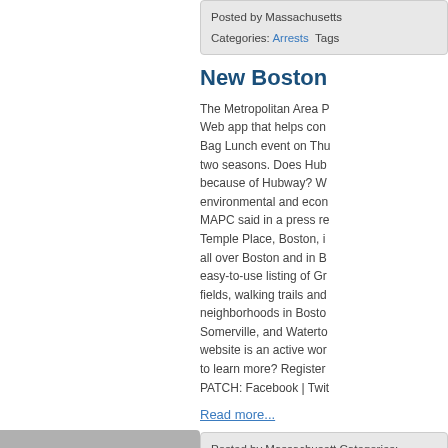Posted by Massachusetts... Categories: Arrests Tags...
New Boston
The Metropolitan Area P... Web app that helps con... Bag Lunch event on Thu... two seasons. Does Hub... because of Hubway? W... environmental and econ... MAPC said in a press re... Temple Place, Boston, i... all over Boston and in B... easy-to-use listing of Gr... fields, walking trails and... neighborhoods in Bosto... Somerville, and Waterto... website is an active wor... to learn more? Register... PATCH: Facebook | Twit...
Read more...
Posted by Massachusetts... Categories: Arrests Tags...